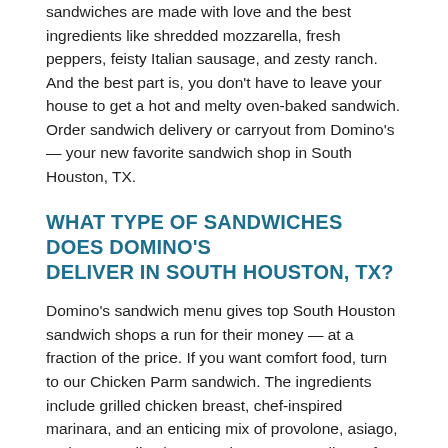sandwiches are made with love and the best ingredients like shredded mozzarella, fresh peppers, feisty Italian sausage, and zesty ranch. And the best part is, you don't have to leave your house to get a hot and melty oven-baked sandwich. Order sandwich delivery or carryout from Domino's — your new favorite sandwich shop in South Houston, TX.
WHAT TYPE OF SANDWICHES DOES DOMINO'S DELIVER IN SOUTH HOUSTON, TX?
Domino's sandwich menu gives top South Houston sandwich shops a run for their money — at a fraction of the price. If you want comfort food, turn to our Chicken Parm sandwich. The ingredients include grilled chicken breast, chef-inspired marinara, and an enticing mix of provolone, asiago, and mozzarella cheese — between two slices of warm bread.
Is Chicken Parm not your top sandwich pick? Spice up your dinner with the Italian Sandwich. It's a flavorful combination of your favorite ingredients like pepperoni, salami, banana peppers, and melted provolone on oven-toasted bread. It's savory, packed with cheese, and the perfect pinch of spicy.